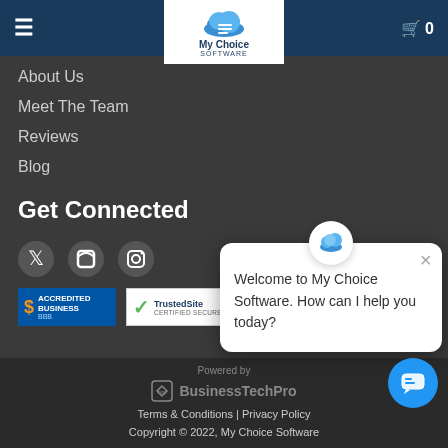My Choice Software
About Us
Meet The Team
Reviews
Blog
Get Connected
[Figure (logo): BBB Accredited Business badge]
[Figure (logo): TrustedSite Certified Secure badge]
Powered by BusinessTechPro
Terms & Conditions | Privacy Policy
Copyright © 2022, My Choice Software
[Figure (screenshot): Chat popup: Welcome to My Choice Software. How can I help you today?]